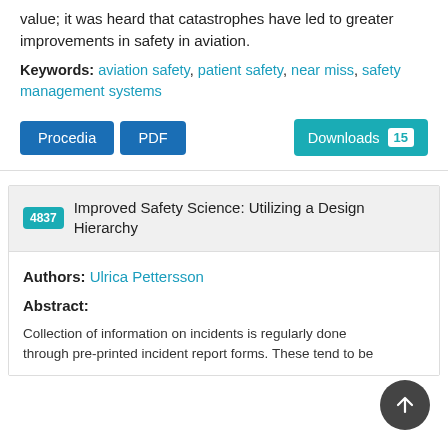value; it was heard that catastrophes have led to greater improvements in safety in aviation.
Keywords: aviation safety, patient safety, near miss, safety management systems
Procedia  PDF  Downloads 15
4837 Improved Safety Science: Utilizing a Design Hierarchy
Authors: Ulrica Pettersson
Abstract:
Collection of information on incidents is regularly done through pre-printed incident report forms. These tend to be